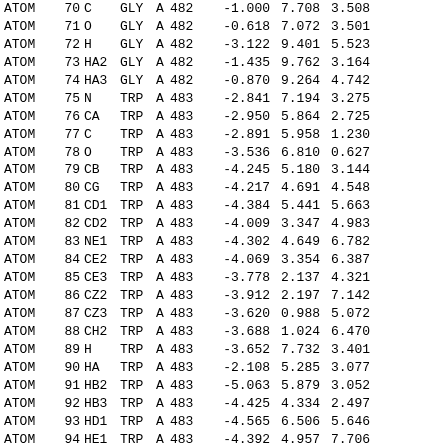| Record | Num | Atom | Res | Chain | ResNum |  | X | Y | Z | ... |
| --- | --- | --- | --- | --- | --- | --- | --- | --- | --- | --- |
| ATOM | 70 | C | GLY | A | 482 |  | -1.000 | 7.708 | 3.508 |  |
| ATOM | 71 | O | GLY | A | 482 |  | -0.618 | 7.072 | 3.501 |  |
| ATOM | 72 | H | GLY | A | 482 |  | -3.122 | 9.401 | 5.523 |  |
| ATOM | 73 | HA2 | GLY | A | 482 |  | -1.435 | 9.762 | 3.164 |  |
| ATOM | 74 | HA3 | GLY | A | 482 |  | -0.870 | 9.264 | 4.742 |  |
| ATOM | 75 | N | TRP | A | 483 |  | -2.841 | 7.194 | 3.275 |  |
| ATOM | 76 | CA | TRP | A | 483 |  | -2.950 | 5.864 | 2.725 |  |
| ATOM | 77 | C | TRP | A | 483 |  | -2.891 | 5.958 | 1.230 |  |
| ATOM | 78 | O | TRP | A | 483 |  | -3.536 | 6.810 | 0.627 |  |
| ATOM | 79 | CB | TRP | A | 483 |  | -4.245 | 5.180 | 3.144 |  |
| ATOM | 80 | CG | TRP | A | 483 |  | -4.217 | 4.691 | 4.548 |  |
| ATOM | 81 | CD1 | TRP | A | 483 |  | -4.384 | 5.441 | 5.663 |  |
| ATOM | 82 | CD2 | TRP | A | 483 |  | -4.009 | 3.347 | 4.983 |  |
| ATOM | 83 | NE1 | TRP | A | 483 |  | -4.302 | 4.649 | 6.782 |  |
| ATOM | 84 | CE2 | TRP | A | 483 |  | -4.069 | 3.354 | 6.387 |  |
| ATOM | 85 | CE3 | TRP | A | 483 |  | -3.778 | 2.137 | 4.321 |  |
| ATOM | 86 | CZ2 | TRP | A | 483 |  | -3.912 | 2.197 | 7.142 |  |
| ATOM | 87 | CZ3 | TRP | A | 483 |  | -3.620 | 0.988 | 5.072 |  |
| ATOM | 88 | CH2 | TRP | A | 483 |  | -3.688 | 1.024 | 6.470 |  |
| ATOM | 89 | H | TRP | A | 483 |  | -3.652 | 7.732 | 3.401 |  |
| ATOM | 90 | HA | TRP | A | 483 |  | -2.108 | 5.285 | 3.077 |  |
| ATOM | 91 | HB2 | TRP | A | 483 |  | -5.063 | 5.879 | 3.052 |  |
| ATOM | 92 | HB3 | TRP | A | 483 |  | -4.425 | 4.334 | 2.497 |  |
| ATOM | 93 | HD1 | TRP | A | 483 |  | -4.565 | 6.506 | 5.646 |  |
| ATOM | 94 | HE1 | TRP | A | 483 |  | -4.392 | 4.957 | 7.706 |  |
| ATOM | 95 | HE3 | TRP | A | 483 |  | -3.721 | 2.092 | 3.245 |  |
| ATOM | 96 | HZ2 | TRP | A | 483 |  | -3.966 | 2.208 | 8.219 |  |
| ATOM | 97 | HZ3 | TRP | A | 483 |  | -3.446 | 0.043 | 4.578 |  |
| ATOM | 98 | HH2 | TRP | A | 483 |  | -3.557 | 0.102 | 7.020 |  |
| ATOM | 99 | N | GLU | A | 484 |  | -2.101 | 5.102 | 0.646 |  |
| ATOM | 100 | CA | GLU | A | 484 |  | -1.070 | 5.040 | 0.780 |  |